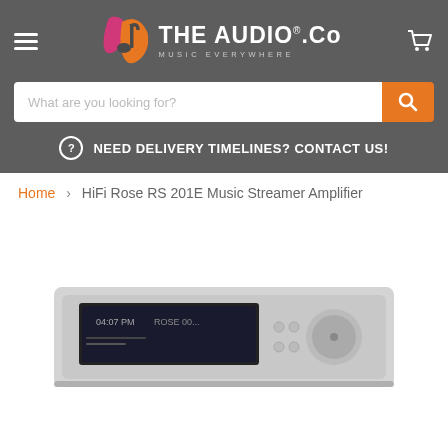THE AUDIO.Co - MUSIC EVERYWHERE
What are you looking for?
NEED DELIVERY TIMELINES? CONTACT US!
Home > HiFi Rose RS 201E Music Streamer Amplifier
[Figure (photo): HiFi Rose RS 201E Music Streamer Amplifier product photo showing the front panel with display screen and controls]